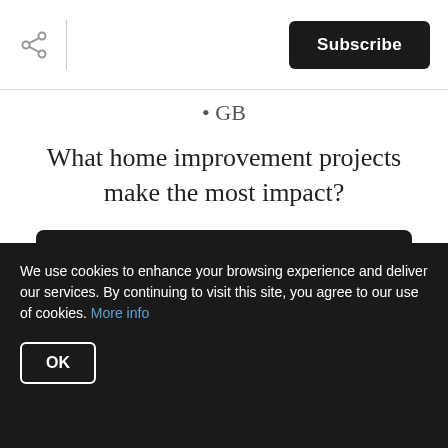Subscribe
• GB
What home improvement projects make the most impact?
Find out! >
· ·
We respect your inbox. We only send interesting and relevant emails
We use cookies to enhance your browsing experience and deliver our services. By continuing to visit this site, you agree to our use of cookies. More info
OK